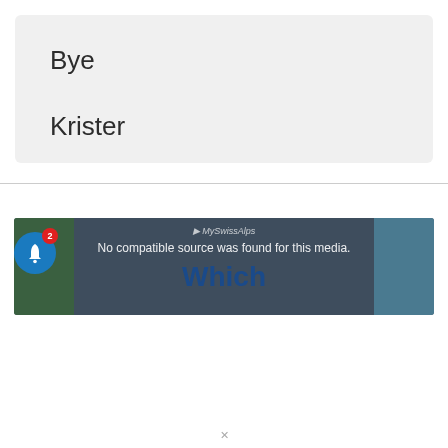Bye
Krister
[Figure (screenshot): Media player screenshot with dark overlay showing 'No compatible source was found for this media.' message and the word 'Which' in bold dark blue text. A notification bell icon with badge count of 2 overlays the bottom left.]